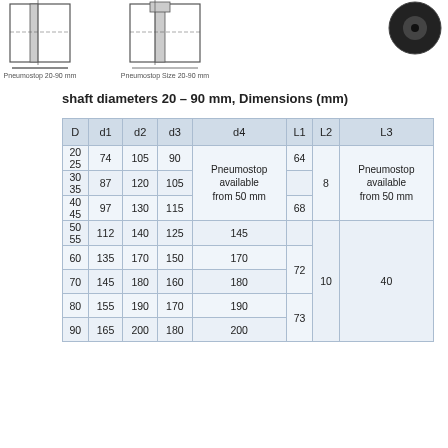[Figure (engineering-diagram): Technical cross-section drawings of Pneumostop and Pneumostop Size variants (20-90mm), plus a photo of a black circular pneumostop component on the right side.]
shaft diameters 20 – 90 mm, Dimensions (mm)
| D | d1 | d2 | d3 | d4 | L1 | L2 | L3 |
| --- | --- | --- | --- | --- | --- | --- | --- |
| 20
25 | 74 | 105 | 90 | Pneumostop available from 50 mm | 64 |  | Pneumostop available from 50 mm |
| 30
35 | 87 | 120 | 105 | Pneumostop available from 50 mm |  | 8 | Pneumostop available from 50 mm |
| 40
45 | 97 | 130 | 115 | Pneumostop available from 50 mm | 68 |  | Pneumostop available from 50 mm |
| 50
55 | 112 | 140 | 125 | 145 |  |  |  |
| 60 | 135 | 170 | 150 | 170 | 72 |  | 40 |
| 70 | 145 | 180 | 160 | 180 |  | 10 | 40 |
| 80 | 155 | 190 | 170 | 190 | 73 |  | 40 |
| 90 | 165 | 200 | 180 | 200 |  |  | 40 |